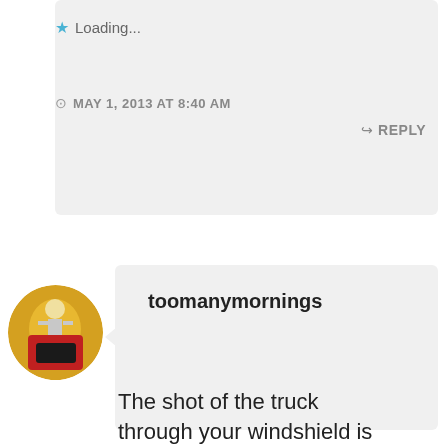Loading...
MAY 1, 2013 AT 8:40 AM
REPLY
[Figure (photo): Circular avatar image showing a skeleton figure]
toomanymornings
The shot of the truck through your windshield is
Privacy & Cookies: This site uses cookies. By continuing to use this website, you agree to their use. To find out more, including how to control cookies, see here: Cookie Policy
Close and accept
a year, I assume you hop